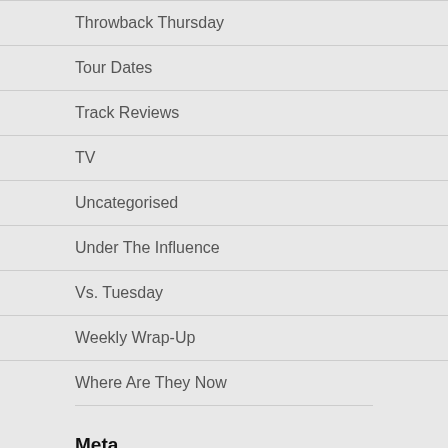Throwback Thursday
Tour Dates
Track Reviews
TV
Uncategorised
Under The Influence
Vs. Tuesday
Weekly Wrap-Up
Where Are They Now
Meta